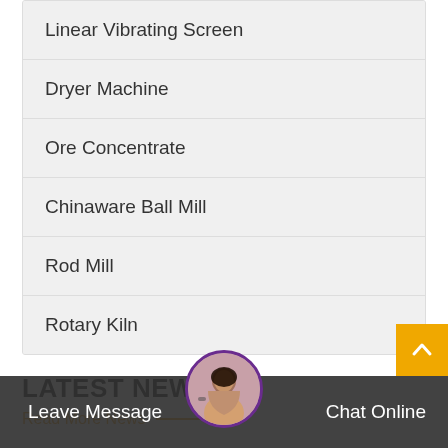Linear Vibrating Screen
Dryer Machine
Ore Concentrate
Chinaware Ball Mill
Rod Mill
Rotary Kiln
LATEST NEWS
Read More News
Leave Message
Chat Online